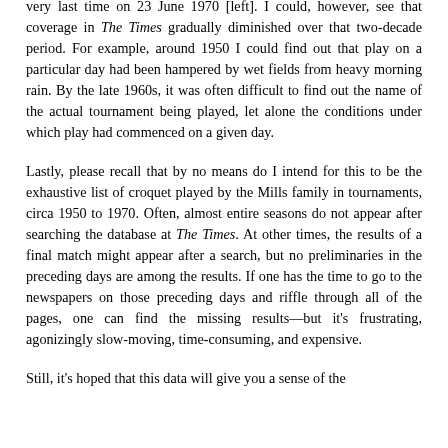very last time on 23 June 1970 [left]. I could, however, see that coverage in The Times gradually diminished over that two-decade period. For example, around 1950 I could find out that play on a particular day had been hampered by wet fields from heavy morning rain. By the late 1960s, it was often difficult to find out the name of the actual tournament being played, let alone the conditions under which play had commenced on a given day.
Lastly, please recall that by no means do I intend for this to be the exhaustive list of croquet played by the Mills family in tournaments, circa 1950 to 1970. Often, almost entire seasons do not appear after searching the database at The Times. At other times, the results of a final match might appear after a search, but no preliminaries in the preceding days are among the results. If one has the time to go to the newspapers on those preceding days and riffle through all of the pages, one can find the missing results—but it's frustrating, agonizingly slow-moving, time-consuming, and expensive.
Still, it's hoped that this data will give you a sense of the